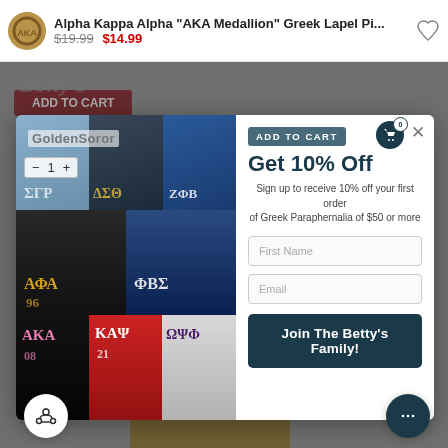Alpha Kappa Alpha "AKA Medallion" Greek Lapel Pi... $19.99  $14.99
[Figure (screenshot): E-commerce popup modal on Betty's Promos Plus website showing a promotional offer. Left side has a photo collage of people wearing Greek letter fraternity/sorority t-shirts (ΣΓΡ, ΔΣΘ, ΖΦΒ, ΑΦΑ, ΦΒΣ, ΑΚΑ, ΚΑΨ, ΩΨΦ). Right side shows 'Get 10% Off' promotional form with First Name and Email inputs and 'Join The Betty's Family!' button. Background shows AKA medallion product.]
GoldenSoror
Get 10% Off
Sign up to receive 10% off your first order of Greek Paraphernalia of $50 or more
ADD TO CART
First Name
Email
Join The Betty's Family!